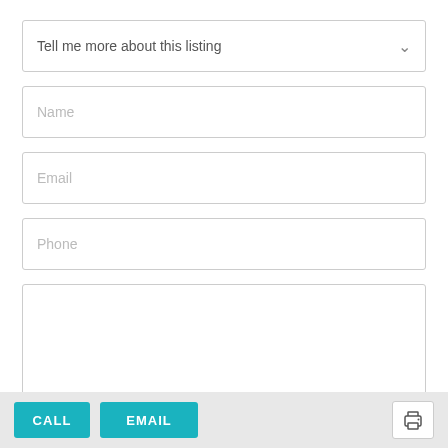Tell me more about this listing
Name
Email
Phone
CALL
EMAIL